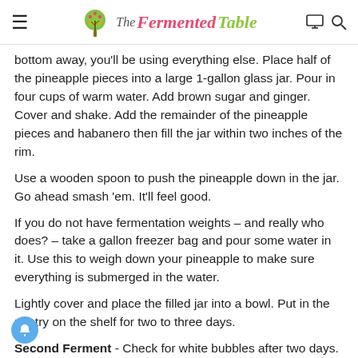The Fermented Table
bottom away, you'll be using everything else. Place half of the pineapple pieces into a large 1-gallon glass jar. Pour in four cups of warm water. Add brown sugar and ginger. Cover and shake. Add the remainder of the pineapple pieces and habanero then fill the jar within two inches of the rim.
Use a wooden spoon to push the pineapple down in the jar. Go ahead smash 'em. It'll feel good.
If you do not have fermentation weights – and really who does? – take a gallon freezer bag and pour some water in it. Use this to weigh down your pineapple to make sure everything is submerged in the water.
Lightly cover and place the filled jar into a bowl. Put in the pantry on the shelf for two to three days.
Second Ferment - Check for white bubbles after two days. If no bubbles leave one more day. After the first ferment, remove the jar from the pantry. Now you will bottle the tepache to allow for a